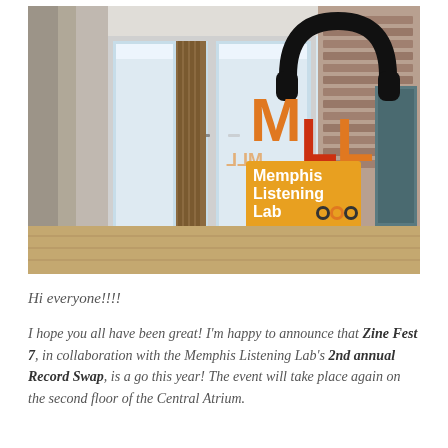[Figure (photo): Interior entrance of the Memphis Listening Lab (MLL). Glass double doors open to a space with wood floors. The brick wall features a large orange and red 'MLL' logo with a black headphones icon above, and an orange sign reading 'Memphis Listening Lab' with headphone icons. A teal/grey door is on the right.]
Hi everyone!!!!
I hope you all have been great! I'm happy to announce that Zine Fest 7, in collaboration with the Memphis Listening Lab's 2nd annual Record Swap, is a go this year! The event will take place again on the second floor of the Central Atrium.